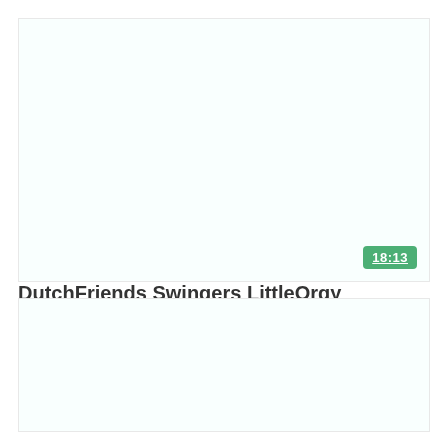[Figure (screenshot): Video thumbnail placeholder, light background with duration badge showing 18:13 in green]
DutchFriends Swingers LittleOrgy
[Figure (screenshot): Second video thumbnail placeholder, light background]